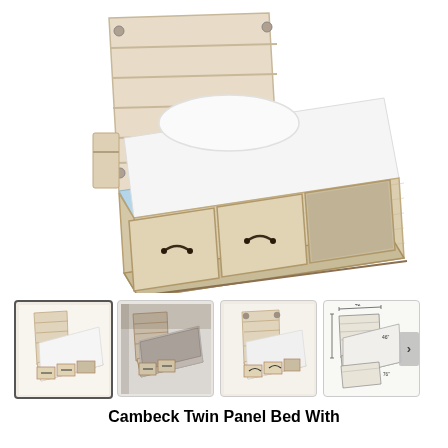[Figure (photo): Cambeck Twin Panel Bed with 4 Storage Drawers - main product photo showing a light whitewash wood bed with paneled headboard with built-in lights, white bedding, and under-bed storage drawers with dark metal handles, viewed from an angle]
[Figure (photo): Thumbnail 1 (selected): Same bed front angle view, whitewash finish, storage drawers visible]
[Figure (photo): Thumbnail 2: Bed with gray/dark bedding, shown in room setting]
[Figure (photo): Thumbnail 3: Bed with white bedding, front/side view]
[Figure (engineering-diagram): Thumbnail 4: Technical dimension diagram of the bed showing measurements]
Cambeck Twin Panel Bed With